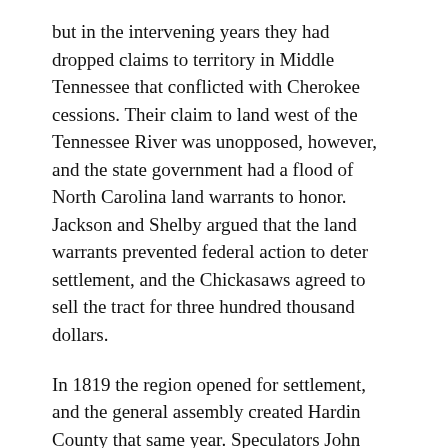but in the intervening years they had dropped claims to territory in Middle Tennessee that conflicted with Cherokee cessions. Their claim to land west of the Tennessee River was unopposed, however, and the state government had a flood of North Carolina land warrants to honor. Jackson and Shelby argued that the land warrants prevented federal action to deter settlement, and the Chickasaws agreed to sell the tract for three hundred thousand dollars.
In 1819 the region opened for settlement, and the general assembly created Hardin County that same year. Speculators John Overton, James Winchester, and Jackson quickly established the town of Memphis. Within six years of its opening, the Jackson Purchase contained sixteen counties.
Citation Information